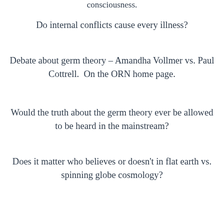consciousness.
Do internal conflicts cause every illness?
Debate about germ theory – Amandha Vollmer vs. Paul Cottrell.  On the ORN home page.
Would the truth about the germ theory ever be allowed to be heard in the mainstream?
Does it matter who believes or doesn't in flat earth vs. spinning globe cosmology?
What to do if someone has cold feet?
ORN admirer in London especially appreciates Dr. Jennifer Daniels.